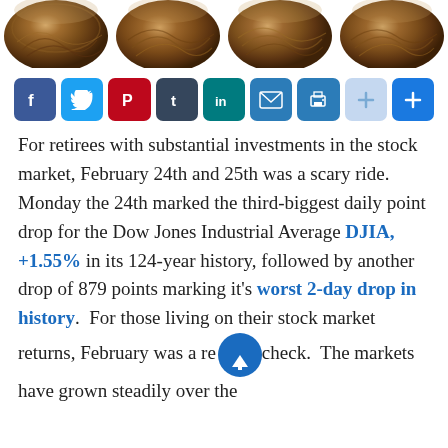[Figure (photo): Four bird nests arranged in a row at the top of the page]
[Figure (infographic): Social media sharing button bar: Facebook (blue), Twitter (light blue), Pinterest (red), Tumblr (dark slate), LinkedIn (teal), Email (blue), Print (blue), plus (light blue), AddThis plus (blue)]
For retirees with substantial investments in the stock market, February 24th and 25th was a scary ride. Monday the 24th marked the third-biggest daily point drop for the Dow Jones Industrial Average DJIA, +1.55% in its 124-year history, followed by another drop of 879 points marking it’s worst 2-day drop in history.  For those living on their stock market returns, February was a reality check.  The markets have grown steadily over the